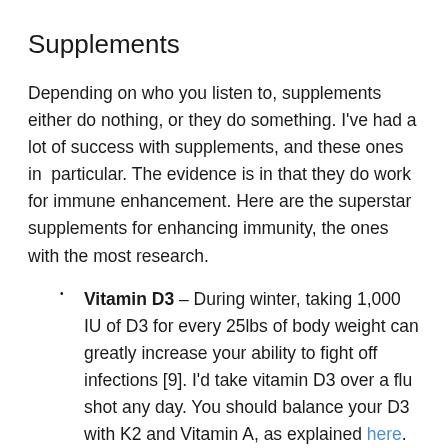Supplements
Depending on who you listen to, supplements either do nothing, or they do something. I've had a lot of success with supplements, and these ones in particular. The evidence is in that they do work for immune enhancement. Here are the superstar supplements for enhancing immunity, the ones with the most research.
Vitamin D3 – During winter, taking 1,000 IU of D3 for every 25lbs of body weight can greatly increase your ability to fight off infections [9]. I'd take vitamin D3 over a flu shot any day. You should balance your D3 with K2 and Vitamin A, as explained here.
Vitamin C, contrary to popular belief, won't